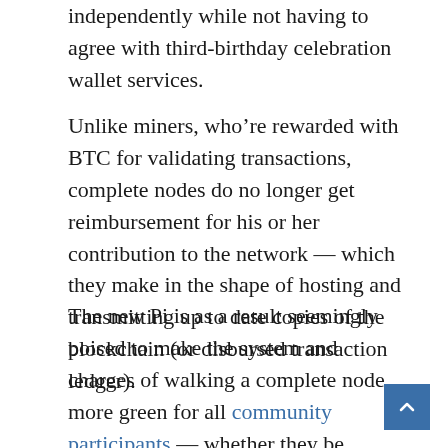independently while not having to agree with third-birthday celebration wallet services.
Unlike miners, who’re rewarded with BTC for validating transactions, complete nodes do no longer get reimbursement for his or her contribution to the network — which they make in the shape of hosting and transmitting up to date copies of the blockchain (or disbursed transaction ledger).
The new Pi is as a result seemingly poised to make the system and charges of walking a complete node more green for all community participants — whether they be miners, companies, or privateness-conscious